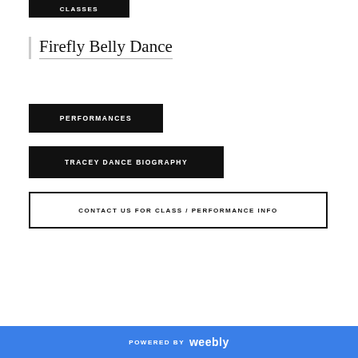CLASSES
Firefly Belly Dance
PERFORMANCES
TRACEY DANCE BIOGRAPHY
CONTACT US FOR CLASS / PERFORMANCE INFO
POWERED BY weebly